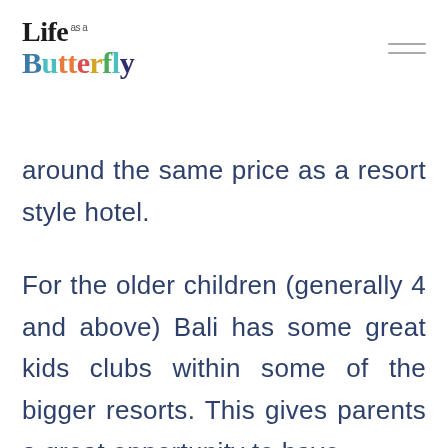[Figure (logo): Life as a Butterfly logo with colorful lettering]
around the same price as a resort style hotel.
For the older children (generally 4 and above) Bali has some great kids clubs within some of the bigger resorts. This gives parents a great opportunity to have